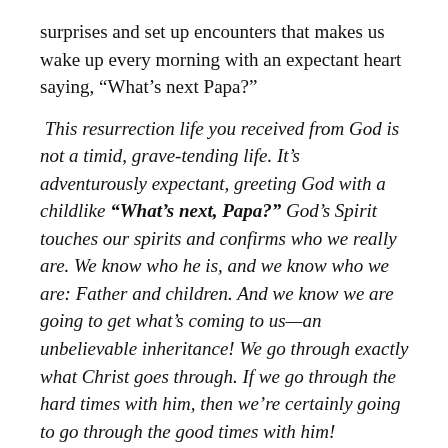surprises and set up encounters that makes us wake up every morning with an expectant heart saying, “What’s next Papa?”
This resurrection life you received from God is not a timid, grave-tending life. It’s adventurously expectant, greeting God with a childlike “What’s next, Papa?” God’s Spirit touches our spirits and confirms who we really are. We know who he is, and we know who we are: Father and children. And we know we are going to get what’s coming to us—an unbelievable inheritance! We go through exactly what Christ goes through. If we go through the hard times with him, then we’re certainly going to go through the good times with him!  (Romans 8:15-17 MSG)